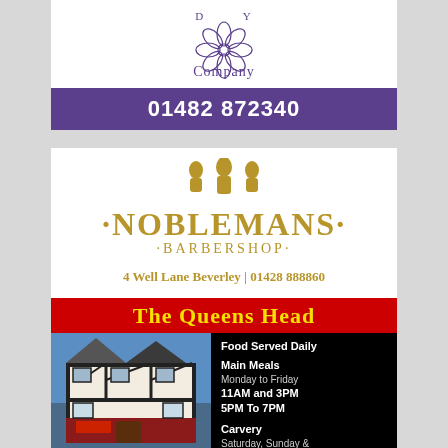[Figure (logo): Company logo with floral/rose emblem and text 'Company' in decorative style]
01482 872340
[Figure (logo): Noblemans Barbershop logo with golden text and decorative figures on top, text reads '.NOBLEMANS. .BARBERSHOP.']
4 Well Lane Beverley | 01428 888860
[Figure (infographic): The Queens Head pub advertisement with red title banner, photo of Tudor-style building, and food service information]
Food Served Daily
Main Meals
Monday to Friday
11AM and 3PM
5PM To 7PM
Carvery
Saturday, Sunday &
Wednesday
11.30 AM to 2PM